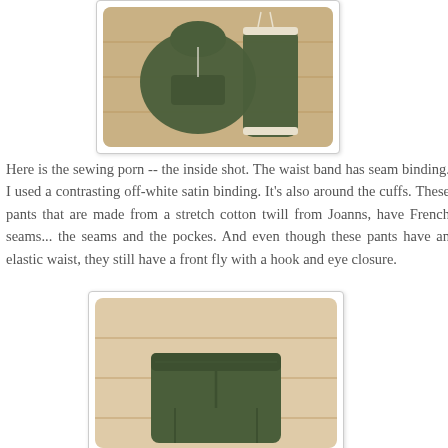[Figure (photo): Photo of olive/dark green sweatsuit (hoodie and jogger pants) laid flat on a wooden floor, showing inside/seam details with contrasting off-white binding at cuffs and waistband.]
Here is the sewing porn -- the inside shot.  The waist band has seam binding.  I used a contrasting off-white satin binding.  It's also around the cuffs.  These pants that are made from a stretch cotton twill from Joanns, have French seams... the seams and the pockes.  And even though these pants have an elastic waist, they still have a front fly with a hook and eye closure.
[Figure (photo): Photo of the olive green pants laid flat on a wooden floor, showing the front waistband area with elastic waist and front fly detail.]